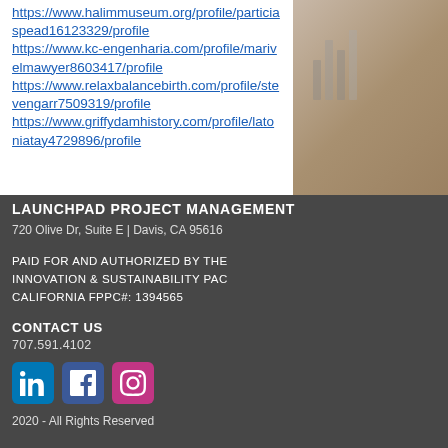https://www.halimmuseum.org/profile/particiaspead16123329/profile
https://www.kc-engenharia.com/profile/marivelmawyer8603417/profile
https://www.relaxbalancebirth.com/profile/stevengarr7509319/profile
https://www.griffydamhistory.com/profile/latoniatay4729896/profile
LAUNCHPAD PROJECT MANAGEMENT
720 Olive Dr, Suite E | Davis, CA 95616
PAID FOR AND AUTHORIZED BY THE INNOVATION & SUSTAINABILITY PAC CALIFORNIA FPPC#: 1394565
CONTACT US
707.591.4102
[Figure (logo): LinkedIn, Facebook, and Instagram social media icons]
2020 - All Rights Reserved